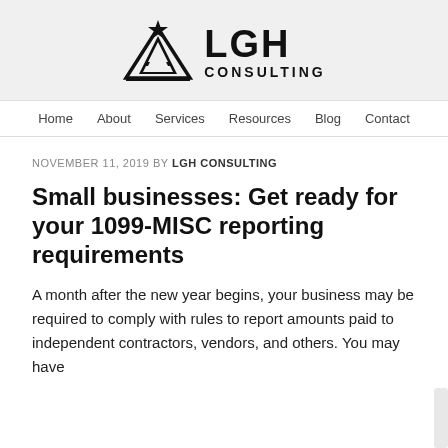[Figure (logo): LGH Consulting logo with triangle/star symbol and text 'LGH CONSULTING']
Home   About   Services   Resources   Blog   Contact
NOVEMBER 11, 2019 BY LGH CONSULTING
Small businesses: Get ready for your 1099-MISC reporting requirements
A month after the new year begins, your business may be required to comply with rules to report amounts paid to independent contractors, vendors, and others. You may have